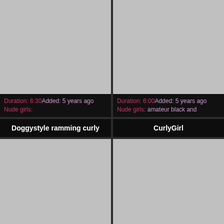[Figure (screenshot): Top-left video thumbnail placeholder (gray rectangle)]
[Figure (screenshot): Top-right video thumbnail placeholder (gray rectangle)]
Duration: 6:30Added: 5 years ago Nude girls:
Duration: 6:00Added: 5 years ago Nude girls: amateur black and
Doggystyle ramming curly
CurlyGirl
[Figure (screenshot): Bottom-left video thumbnail placeholder (gray rectangle)]
[Figure (screenshot): Bottom-right video thumbnail placeholder (gray rectangle)]